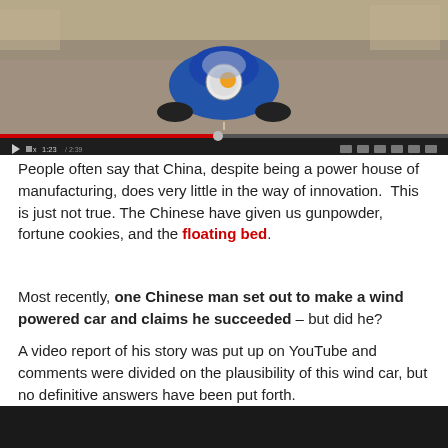[Figure (screenshot): Video player screenshot showing a blue wind-powered car driving on a road, with video controls bar at the bottom showing progress at 1:23/2:39]
People often say that China, despite being a power house of manufacturing, does very little in the way of innovation.  This is just not true. The Chinese have given us gunpowder, fortune cookies, and the floating bed.
Most recently, one Chinese man set out to make a wind powered car and claims he succeeded – but did he?
A video report of his story was put up on YouTube and comments were divided on the plausibility of this wind car, but no definitive answers have been put forth.
[Figure (screenshot): Bottom portion of another video player, showing dark/black screen]